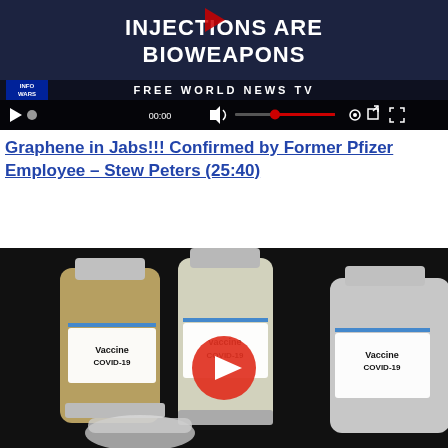[Figure (screenshot): Video player screenshot showing text 'INJECTIONS ARE BIOWEAPONS' over a broadcast background with InfoWars logo, video controls bar at bottom showing 00:00 timestamp]
Graphene in Jabs!!! Confirmed by Former Pfizer Employee – Stew Peters (25:40)
[Figure (screenshot): Video thumbnail showing three COVID-19 vaccine vials labeled 'Vaccine COVID-19' with a red play button overlay in the center, dark background]